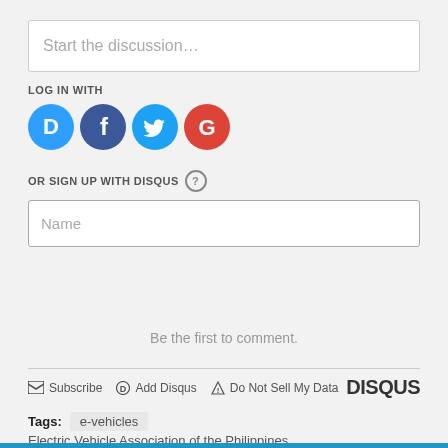Start the discussion...
LOG IN WITH
[Figure (infographic): Social login icons: Disqus (D, blue speech bubble), Facebook (f, dark blue circle), Twitter (bird, light blue circle), Google (G, red circle)]
OR SIGN UP WITH DISQUS ?
Name
Be the first to comment.
Subscribe  Add Disqus  Do Not Sell My Data   DISQUS
Tags:  e-vehicles
Electric Vehicle Association of the Philippines